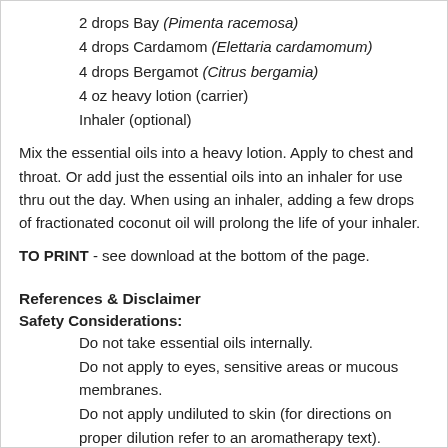2 drops Bay (Pimenta racemosa)
4 drops Cardamom (Elettaria cardamomum)
4 drops Bergamot (Citrus bergamia)
4 oz heavy lotion (carrier)
Inhaler (optional)
Mix the essential oils into a heavy lotion. Apply to chest and throat. Or add just the essential oils into an inhaler for use thru out the day. When using an inhaler, adding a few drops of fractionated coconut oil will prolong the life of your inhaler.
TO PRINT - see download at the bottom of the page.
References & Disclaimer
Safety Considerations:
Do not take essential oils internally.
Do not apply to eyes, sensitive areas or mucous membranes.
Do not apply undiluted to skin (for directions on proper dilution refer to an aromatherapy text).
The information on this website is not intended to diagnose or prescribe.
Pregnant women, nursing mothers and children should